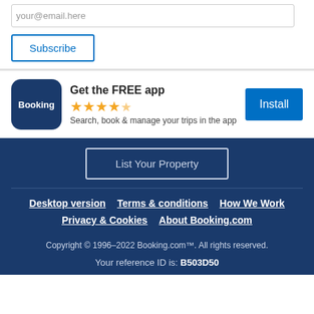your@email.here
Subscribe
[Figure (logo): Booking.com app icon — dark blue rounded square with white 'Booking' text]
Get the FREE app
★★★★½
Search, book & manage your trips in the app
Install
List Your Property
Desktop version   Terms & conditions   How We Work   Privacy & Cookies   About Booking.com
Copyright © 1996–2022 Booking.com™. All rights reserved.
Your reference ID is: B503D50